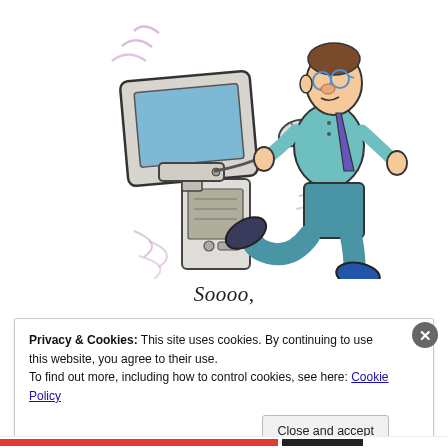[Figure (illustration): Cartoon illustration of a man kicking a computer. The desktop computer monitor shakes with motion lines, a mouse flies off its cord, and a man in glasses and a tie kicks the computer tower while running.]
Soooo,
Privacy & Cookies: This site uses cookies. By continuing to use this website, you agree to their use.
To find out more, including how to control cookies, see here: Cookie Policy